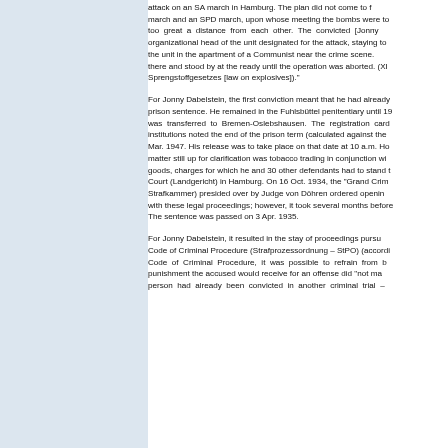attack on an SA march in Hamburg. The plan did not come to f... march and an SPD march, upon whose meeting the bombs were to... too great a distance from each other. The convicted [Jonny... organizational head of the unit designated for the attack, staying to... the unit in the apartment of a Communist near the crime scene. ... there and stood by at the ready until the operation was aborted. (XI ... Sprengstoffgesetzes [law on explosives])."
For Jonny Dabelstein, the first conviction meant that he had already... prison sentence. He remained in the Fuhlsbüttel penitentiary until 19... was transferred to Bremen-Oslebshausen. The registration card ... institutions noted the end of the prison term (calculated against the)... Mar. 1947. His release was to take place on that date at 10 a.m. Ho... matter still up for clarification was tobacco trading in conjunction wi... goods, charges for which he and 30 other defendants had to stand t... Court (Landgericht) in Hamburg. On 16 Oct. 1934, the "Grand Crim... Strafkammer) presided over by Judge von Döhren ordered openin... with these legal proceedings; however, it took several months before... The sentence was passed on 3 Apr. 1935.
For Jonny Dabelstein, it resulted in the stay of proceedings pursu... Code of Criminal Procedure (Strafprozessordnung – StPO) (accordi... Code of Criminal Procedure, it was possible to refrain from b... punishment the accused would receive for an offense did "not ma... person had already been convicted in another criminal trial –